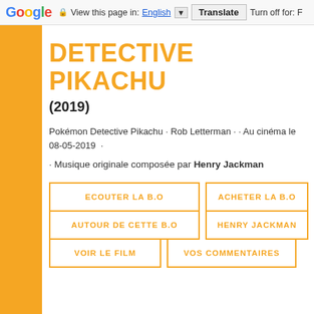Google  View this page in: English ▼  Translate  Turn off for: F
DETECTIVE PIKACHU
(2019)
Pokémon Detective Pikachu · Rob Letterman · · Au cinéma le 08-05-2019 ·
· Musique originale composée par Henry Jackman
ECOUTER LA B.O
ACHETER LA B.O
AUTOUR DE CETTE B.O
HENRY JACKMAN
VOIR LE FILM
VOS COMMENTAIRES